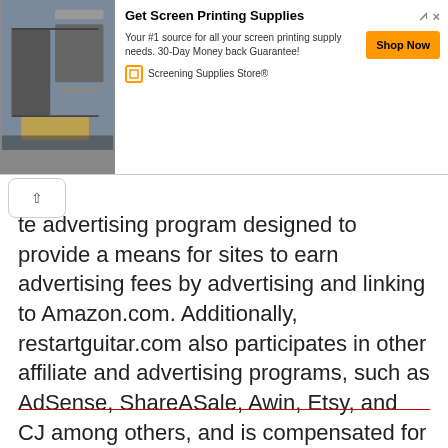[Figure (screenshot): Advertisement banner for Screening Supplies Store. Shows a photo of screen printing equipment on the left, title 'Get Screen Printing Supplies', description text 'Your #1 source for all your screen printing supply needs. 30-Day Money back Guarantee!', an orange 'Shop Now' button, and the advertiser name 'Screening Supplies Store®'. Ad icons (arrow and X) appear top right.]
te advertising program designed to provide a means for sites to earn advertising fees by advertising and linking to Amazon.com. Additionally, restartguitar.com also participates in other affiliate and advertising programs, such as AdSense, ShareASale, Awin, Etsy, and CJ among others, and is compensated for referring traffic and business to them.